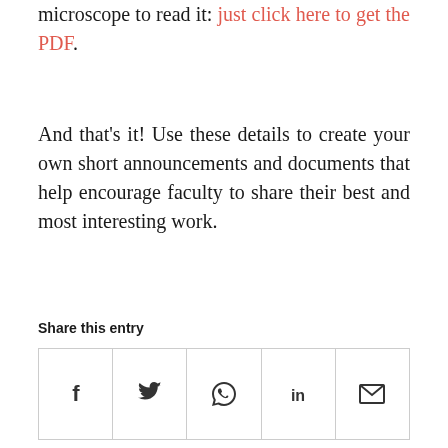microscope to read it: just click here to get the PDF.
And that’s it! Use these details to create your own short announcements and documents that help encourage faculty to share their best and most interesting work.
Share this entry
[Figure (other): Social share buttons row: Facebook (f), Twitter (bird icon), WhatsApp (phone icon), LinkedIn (in), Email (envelope icon)]